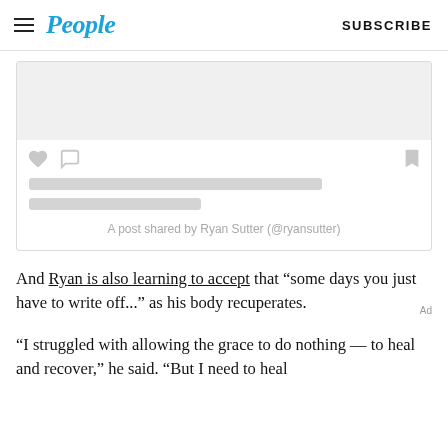People | SUBSCRIBE
[Figure (screenshot): Embedded Instagram post placeholder showing a loading card with heart, comment, and bookmark icons, grey placeholder text lines, and caption 'A post shared by Ryan Sutter (@ryansutter)']
A post shared by Ryan Sutter (@ryansutter)
And Ryan is also learning to accept that “some days you just have to write off...” as his body recuperates.
“I struggled with allowing the grace to do nothing — to heal and recover,” he said. “But I need to heal